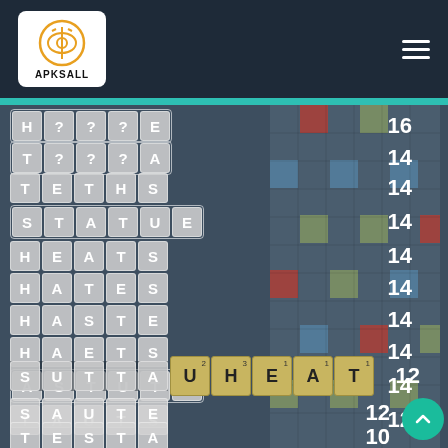[Figure (screenshot): APKSALL website header with logo on dark navy background and hamburger menu icon]
[Figure (screenshot): Scrabble word game app screenshot showing a list of words (H???E 16, T???A 14, TETHS 14, STATUE 14, HEATS 14, HATES 14, HASTE 14, HAETS 14, ASTUTE 14, TAUTS 12, SUTTAJ HEAT 12, SAUTE 12, TESTA 10) with scores and a scrabble board on the right with tiles U,H,E,A,T visible at bottom]